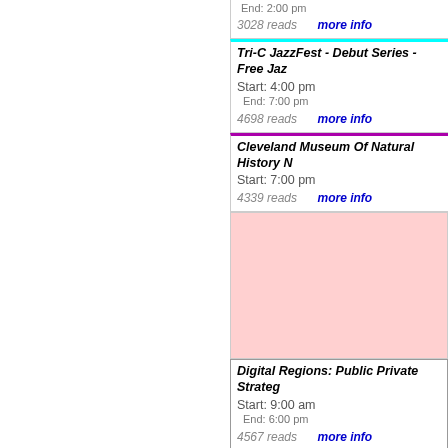End: 2:00 pm
3028 reads   more info
Tri-C JazzFest - Debut Series - Free Jaz...
Start: 4:00 pm
End: 7:00 pm
4698 reads   more info
Cleveland Museum Of Natural History N...
Start: 7:00 pm
4339 reads   more info
[Figure (other): Pink/rose advertisement block]
Digital Regions: Public Private Strateg...
Start: 9:00 am
End: 6:00 pm
4567 reads   more info
Round Table
Start: 11:30 am
End: 1:00 pm
4778 reads   more info
UCITE is honored to present this year's...
Start: 12:00 pm
End: 1:30 pm
4119 reads   more info